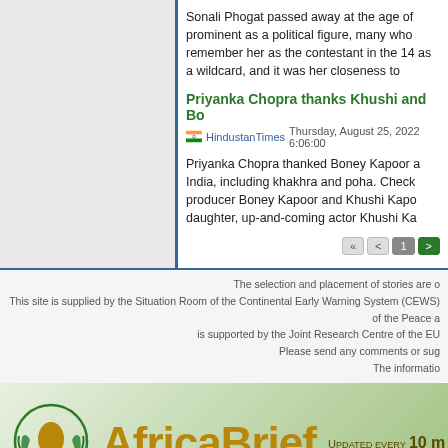Sonali Phogat passed away at the age of prominent as a political figure, many who remember her as the contestant in the 14 as a wildcard, and it was her closeness to
Priyanka Chopra thanks Khushi and Bo
HindustanTimes Thursday, August 25, 2022 6:06:00
Priyanka Chopra thanked Boney Kapoor a India, including khakhra and poha. Check producer Boney Kapoor and Khushi Kapo daughter, up-and-coming actor Khushi Ka
The selection and placement of stories are o This site is supplied by the Situation Room of the Continental Early Warning System (CEWS) of the Peace a is supported by the Joint Research Centre of the EU Please send any comments or sug The informatio
[Figure (logo): AfricaBrief website banner with African Union logo and 'AfricaBrief' text in gold, with 'Updated every 10 m' text]
Updated every 10 m
Main menu | Privacy Sho